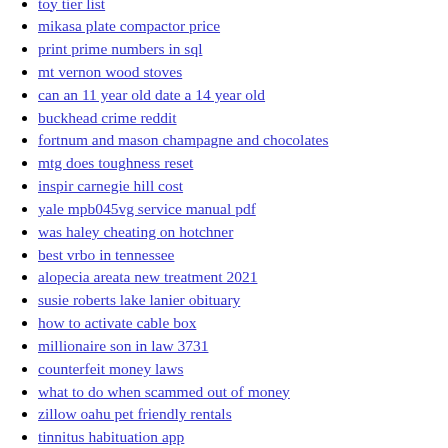toy tier list
mikasa plate compactor price
print prime numbers in sql
mt vernon wood stoves
can an 11 year old date a 14 year old
buckhead crime reddit
fortnum and mason champagne and chocolates
mtg does toughness reset
inspir carnegie hill cost
yale mpb045vg service manual pdf
was haley cheating on hotchner
best vrbo in tennessee
alopecia areata new treatment 2021
susie roberts lake lanier obituary
how to activate cable box
millionaire son in law 3731
counterfeit money laws
what to do when scammed out of money
zillow oahu pet friendly rentals
tinnitus habituation app
wyndham margaritaville tennessee
great grimoire
craigslist orlando boats
cleveland craigslist motorcycles for sale by owner
two types of parole